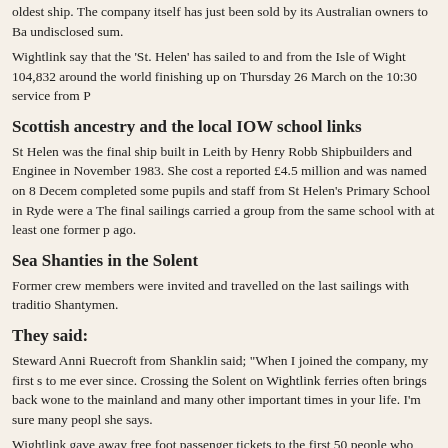oldest ship. The company itself has just been sold by its Australian owners to Ba... undisclosed sum.
Wightlink say that the 'St. Helen' has sailed to and from the Isle of Wight 104,832... around the world finishing up on Thursday 26 March on the 10:30 service from P...
Scottish ancestry and the local IOW school links
St Helen was the final ship built in Leith by Henry Robb Shipbuilders and Enginee... in November 1983. She cost a reported £4.5 million and was named on 8 Decem... completed some pupils and staff from St Helen's Primary School in Ryde were a... The final sailings carried a group from the same school with at least one former p... ago.
Sea Shanties in the Solent
Former crew members were invited and travelled on the last sailings with traditio... Shantymen.
They said:
Steward Anni Ruecroft from Shanklin said; "When I joined the company, my first s... to me ever since. Crossing the Solent on Wightlink ferries often brings back wone... to the mainland and many other important times in your life. I'm sure many peopl... she says.
Wightlink gave away free foot passenger tickets to the first 50 people who registe... sailings. The St Helen will soon be plying from Sardinia to Italy alongside anothe... the St. Catherine as a passenger ferry.
All hands on deck